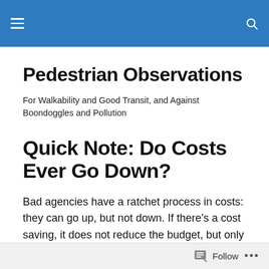Pedestrian Observations — navigation header bar
Pedestrian Observations
For Walkability and Good Transit, and Against Boondoggles and Pollution
Quick Note: Do Costs Ever Go Down?
Bad agencies have a ratchet process in costs: they can go up, but not down. If there's a cost saving, it does not reduce the budget, but only cancels out with unspecified cost increases. Agency heads and politicians trumpet their
Follow ...